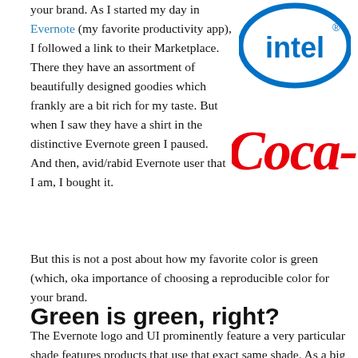your brand. As I started my day in Evernote (my favorite productivity app), I followed a link to their Marketplace. There they have an assortment of beautifully designed goodies which frankly are a bit rich for my taste. But when I saw they have a shirt in the distinctive Evernote green I paused. And then, avid/rabid Evernote user that I am, I bought it.
[Figure (logo): Intel logo - blue oval with Intel text inside]
[Figure (logo): Coca-Cola logo - red cursive Coca-Cola text (partially visible)]
But this is not a post about how my favorite color is green (which, oka importance of choosing a reproducible color for your brand.
Green is green, right?
The Evernote logo and UI prominently feature a very particular shade features products that use that exact same shade. As a big Evernote use (which doesn't happen too often — it's a very specific shade of green) Evernote. Good marketers on that team!
By now you're probably reading this and saying, "Well, Duh! Use colo something I don't know."